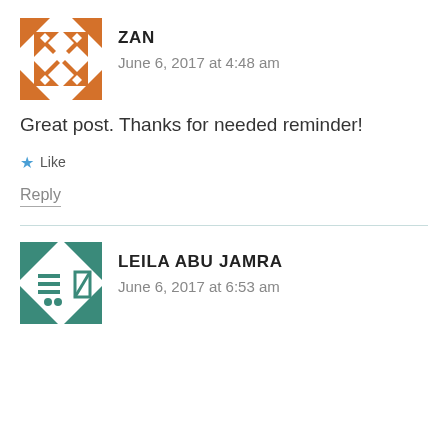[Figure (illustration): Orange geometric avatar for user Zan with diamond/cross pattern]
ZAN
June 6, 2017 at 4:48 am
Great post. Thanks for needed reminder!
★ Like
Reply
[Figure (illustration): Teal/green geometric avatar for user Leila Abu Jamra with abstract pattern]
LEILA ABU JAMRA
June 6, 2017 at 6:53 am